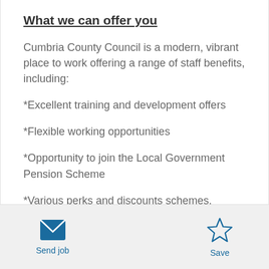What we can offer you
Cumbria County Council is a modern, vibrant place to work offering a range of staff benefits, including:
*Excellent training and development offers
*Flexible working opportunities
*Opportunity to join the Local Government Pension Scheme
*Various perks and discounts schemes,
Send job | Save